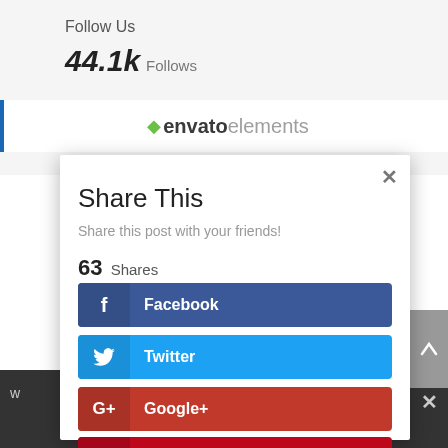Follow Us
44.1k Follows
[Figure (screenshot): Envato Elements logo banner with blue left and right borders]
Share This
Share this post with your friends!
63 Shares
f Facebook
Twitter
G+ Google+
Pinterest